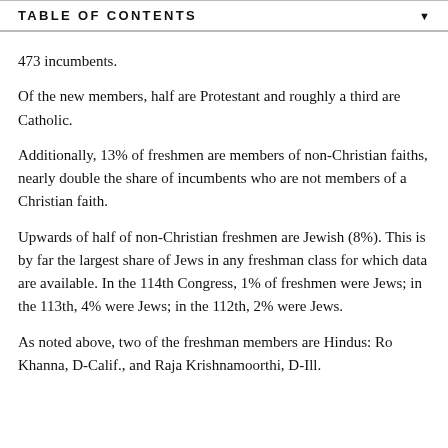TABLE OF CONTENTS
473 incumbents.
Of the new members, half are Protestant and roughly a third are Catholic.
Additionally, 13% of freshmen are members of non-Christian faiths, nearly double the share of incumbents who are not members of a Christian faith.
Upwards of half of non-Christian freshmen are Jewish (8%). This is by far the largest share of Jews in any freshman class for which data are available. In the 114th Congress, 1% of freshmen were Jews; in the 113th, 4% were Jews; in the 112th, 2% were Jews.
As noted above, two of the freshman members are Hindus: Ro Khanna, D-Calif., and Raja Krishnamoorthi, D-Ill.